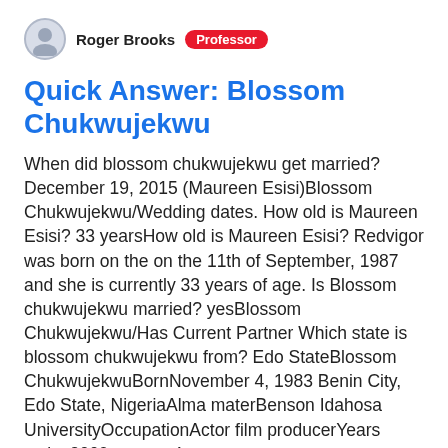Roger Brooks  Professor
Quick Answer: Blossom Chukwujekwu
When did blossom chukwujekwu get married? December 19, 2015 (Maureen Esisi)Blossom Chukwujekwu/Wedding dates. How old is Maureen Esisi? 33 yearsHow old is Maureen Esisi? Redvigor was born on the on the 11th of September, 1987 and she is currently 33 years of age. Is Blossom chukwujekwu married? yesBlossom Chukwujekwu/Has Current Partner Which state is blossom chukwujekwu from? Edo StateBlossom ChukwujekwuBornNovember 4, 1983 Benin City, Edo State, NigeriaAlma materBenson Idahosa UniversityOccupationActor film producerYears active2009-present4 more rows